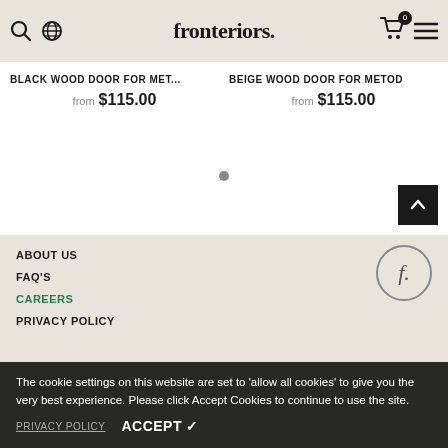fronteriors.
BLACK WOOD DOOR FOR MET...
from $115.00
BEIGE WOOD DOOR FOR METOD
from $115.00
[Figure (other): Navigation dot indicator in product carousel]
[Figure (other): Back to top button (black square with up chevron arrow)]
ABOUT US
FAQ'S
CAREERS
PRIVACY POLICY
[Figure (logo): Fronteriors circular logo with stylized 'f.' in italic]
The cookie settings on this website are set to 'allow all cookies' to give you the very best experience. Please click Accept Cookies to continue to use the site.
PRIVACY POLICY
ACCEPT ✓